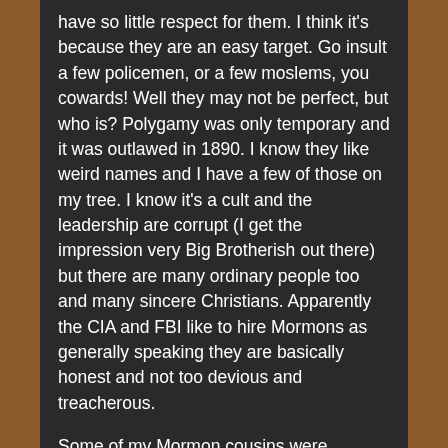have so little respect for them. I think it's because they are an easy target. Go insult a few policemen, or a few moslems, you cowards! Well they may not be perfect, but who is? Polygamy was only temporary and it was outlawed in 1890. I know they like weird names and I have a few of those on my tree. I know it's a cult and the leadership are corrupt (I get the impression very Big Brotherish out there) but there are many ordinary people too and many sincere Christians. Apparently the CIA and FBI like to hire Mormons as generally speaking they are basically honest and not too devious and treacherous.
Some of my Mormon cousins were pioneers – that is before the railroad in 1880 – and I have some wonderful photographs of them which